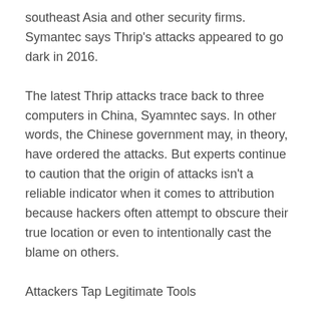southeast Asia and other security firms. Symantec says Thrip's attacks appeared to go dark in 2016.
The latest Thrip attacks trace back to three computers in China, Syamntec says. In other words, the Chinese government may, in theory, have ordered the attacks. But experts continue to caution that the origin of attacks isn't a reliable indicator when it comes to attribution because hackers often attempt to obscure their true location or even to intentionally cast the blame on others.
Attackers Tap Legitimate Tools